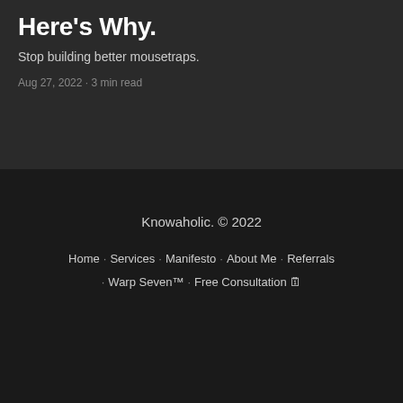Here's Why.
Stop building better mousetraps.
Aug 27, 2022 · 3 min read
Knowaholic. © 2022
Home · Services · Manifesto · About Me · Referrals · Warp Seven™ · Free Consultation 🗓